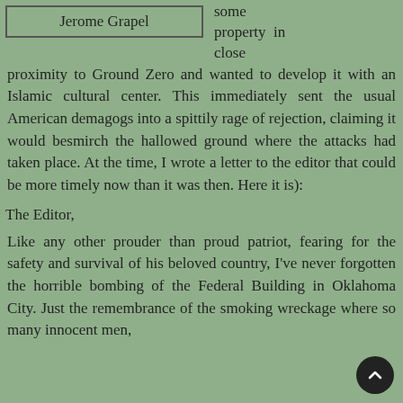Jerome Grapel
some property in close proximity to Ground Zero and wanted to develop it with an Islamic cultural center. This immediately sent the usual American demagogs into a spittily rage of rejection, claiming it would besmirch the hallowed ground where the attacks had taken place. At the time, I wrote a letter to the editor that could be more timely now than it was then. Here it is):
The Editor,
Like any other prouder than proud patriot, fearing for the safety and survival of his beloved country, I've never forgotten the horrible bombing of the Federal Building in Oklahoma City. Just the remembrance of the smoking wreckage where so many innocent men,